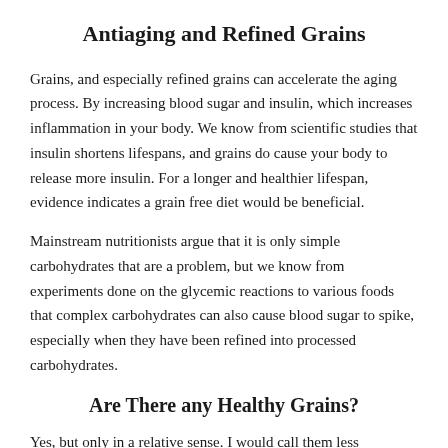Antiaging and Refined Grains
Grains, and especially refined grains can accelerate the aging process. By increasing blood sugar and insulin, which increases inflammation in your body. We know from scientific studies that insulin shortens lifespans, and grains do cause your body to release more insulin. For a longer and healthier lifespan, evidence indicates a grain free diet would be beneficial.
Mainstream nutritionists argue that it is only simple carbohydrates that are a problem, but we know from experiments done on the glycemic reactions to various foods that complex carbohydrates can also cause blood sugar to spike, especially when they have been refined into processed carbohydrates.
Are There any Healthy Grains?
Yes, but only in a relative sense. I would call them less problematic, but still not optimal for nutrition. Wheat is the MOST problematic, but other grains can